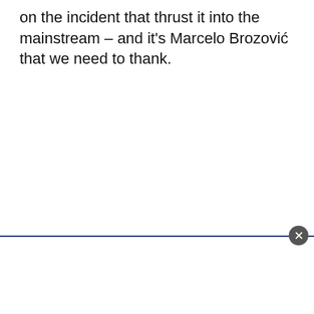on the incident that thrust it into the mainstream – and it's Marcelo Brozović that we need to thank.